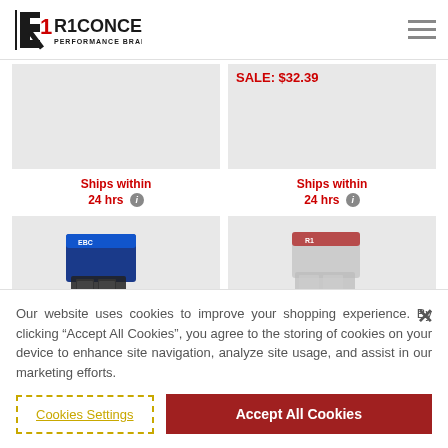[Figure (logo): R1 Concepts Performance Brake Parts logo — stylized R with number 1 in red/black, text R1CONCEPTS below with PERFORMANCE BRAKE PARTS tagline]
SALE: $32.39
[Figure (photo): Product image placeholder (gray box)]
[Figure (photo): Product image placeholder (gray box) with SALE: $32.39 price shown]
Ships within 24 hrs
Ships within 24 hrs
[Figure (photo): Blue brake pad box with brake pads in front]
[Figure (photo): Red/gray brake pad box product image]
Our website uses cookies to improve your shopping experience. By clicking "Accept All Cookies", you agree to the storing of cookies on your device to enhance site navigation, analyze site usage, and assist in our marketing efforts.
Cookies Settings
Accept All Cookies